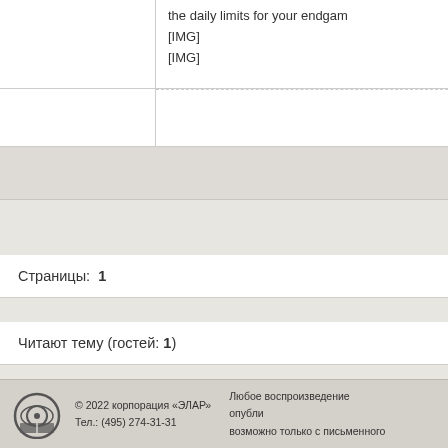|  | the daily limits for your endgan
[IMG]
[IMG] |
|  |  |
|  |  |
Страницы:  1
Читают тему (гостей: 1)
© 2022 корпорация «ЭЛАР»
Тел.: (495) 274-31-31
Любое воспроизведение опубл...
возможно только с письменного...